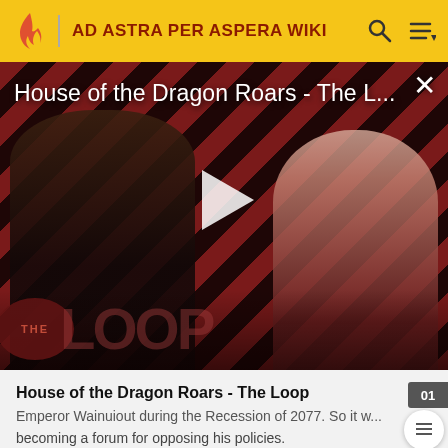AD ASTRA PER ASPERA WIKI
[Figure (screenshot): Video thumbnail for 'House of the Dragon Roars - The L...' with play button overlay, diagonal red/dark stripe background, two characters visible, and 'THE LOOP' logo in lower left. Close button (×) in upper right.]
House of the Dragon Roars - The Loop
Emperor Wainuiout during the Recession of 2077. So it was becoming a forum for opposing his policies.